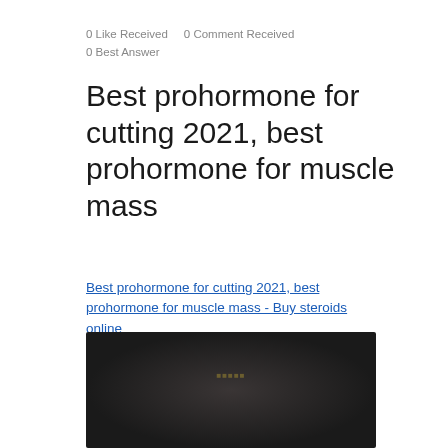0 Like Received   0 Comment Received
0 Best Answer
Best prohormone for cutting 2021, best prohormone for muscle mass
Best prohormone for cutting 2021, best prohormone for muscle mass - Buy steroids online
[Figure (photo): Dark blurred photo, likely a person or product image]